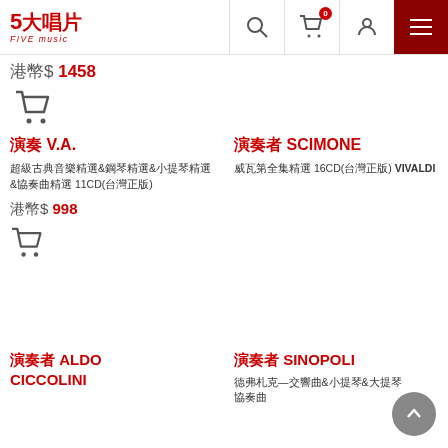5大唱片 FIVE MUSIC
港幣$ 1458
演奏 V.A. — 超級古典音樂精選&鋼琴精選&小提琴精選&協奏曲精選 11CD(台灣版) 港幣$ 998
演奏者 SCIMONE — 威瓦第全集精選 16CD(台灣正版) VIVALDI
演奏者 ALDO CICCOLINI
演奏者 SINOPOLI — 德弗札克—交響曲&小提琴&大提琴協奏曲